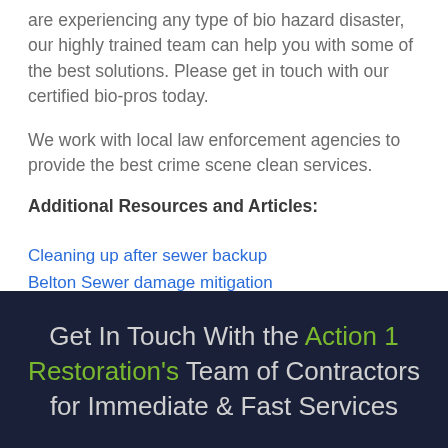are experiencing any type of bio hazard disaster, our highly trained team can help you with some of the best solutions. Please get in touch with our certified bio-pros today.
We work with local law enforcement agencies to provide the best crime scene clean services.
Additional Resources and Articles:
Cleaning up after sewer backup
Belton Sewer damage mitigation
Get In Touch With the Action 1 Restoration's Team of Contractors for Immediate & Fast Services